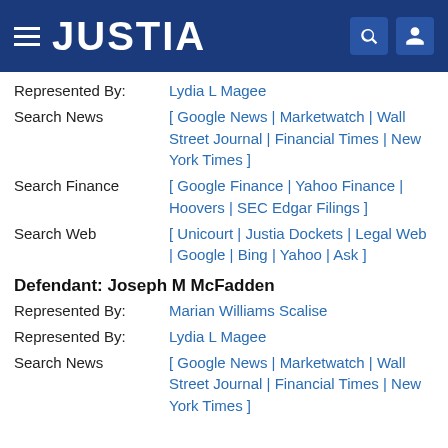JUSTIA
Represented By: Lydia L Magee
Search News [ Google News | Marketwatch | Wall Street Journal | Financial Times | New York Times ]
Search Finance [ Google Finance | Yahoo Finance | Hoovers | SEC Edgar Filings ]
Search Web [ Unicourt | Justia Dockets | Legal Web | Google | Bing | Yahoo | Ask ]
Defendant: Joseph M McFadden
Represented By: Marian Williams Scalise
Represented By: Lydia L Magee
Search News [ Google News | Marketwatch | Wall Street Journal | Financial Times | New York Times ]